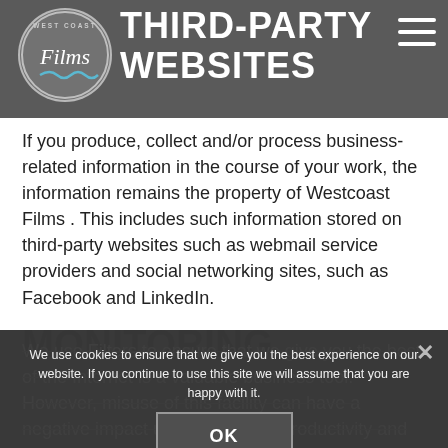THIRD-PARTY WEBSITES
[Figure (logo): West Coast Films circular logo with script text and wave graphic]
If you produce, collect and/or process business-related information in the course of your work, the information remains the property of Westcoast Films . This includes such information stored on third-party websites such as webmail service providers and social networking sites, such as Facebook and LinkedIn.
MONITORING
We use cookies to ensure that we give you the best experience on our website. If you continue to use this site we will assume that you are happy with it.
OK